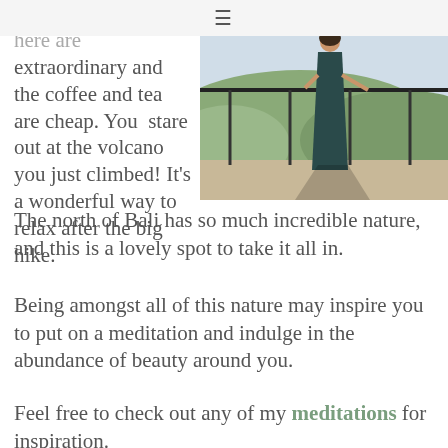≡
Bakery. The views here are extraordinary and the coffee and tea are cheap. You stare out at the volcano you just climbed! It's a wonderful way to relax after the big hike.
[Figure (photo): A woman in a long dark teal dress standing on a balcony with a railing, looking out at a landscape with hills and greenery in the background.]
The north of Bali has so much incredible nature, and this is a lovely spot to take it all in.
Being amongst all of this nature may inspire you to put on a meditation and indulge in the abundance of beauty around you.
Feel free to check out any of my meditations for inspiration.